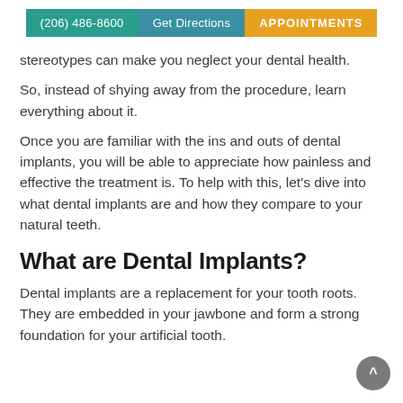(206) 486-8600 | Get Directions | APPOINTMENTS
stereotypes can make you neglect your dental health.
So, instead of shying away from the procedure, learn everything about it.
Once you are familiar with the ins and outs of dental implants, you will be able to appreciate how painless and effective the treatment is. To help with this, let’s dive into what dental implants are and how they compare to your natural teeth.
What are Dental Implants?
Dental implants are a replacement for your tooth roots. They are embedded in your jawbone and form a strong foundation for your artificial tooth.